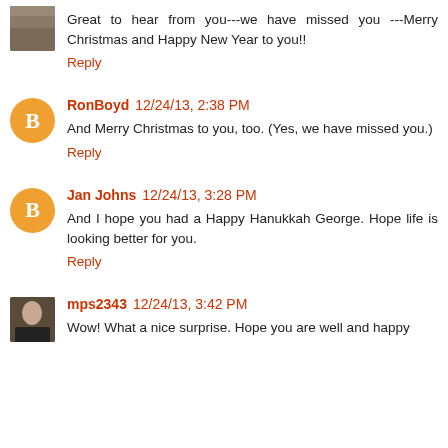Great to hear from you---we have missed you ---Merry Christmas and Happy New Year to you!!
Reply
RonBoyd 12/24/13, 2:38 PM
And Merry Christmas to you, too. (Yes, we have missed you.)
Reply
Jan Johns 12/24/13, 3:28 PM
And I hope you had a Happy Hanukkah George. Hope life is looking better for you.
Reply
mps2343 12/24/13, 3:42 PM
Wow! What a nice surprise. Hope you are well and happy